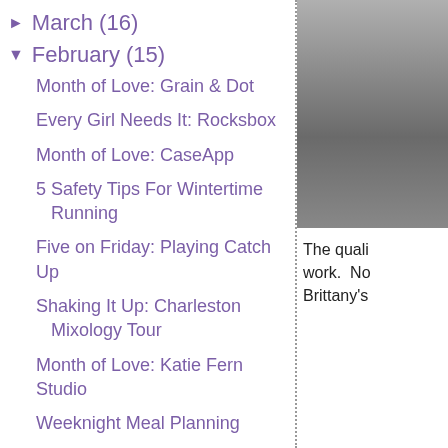► March (16)
▼ February (15)
Month of Love: Grain & Dot
Every Girl Needs It: Rocksbox
Month of Love: CaseApp
5 Safety Tips For Wintertime Running
Five on Friday: Playing Catch Up
Shaking It Up: Charleston Mixology Tour
Month of Love: Katie Fern Studio
Weeknight Meal Planning
Coming to Charleston: Southern C Summit
Wanderlust Wednesday: 2016
[Figure (photo): Partial photo with gray gradient background visible in right column]
The quali work. No Brittany's